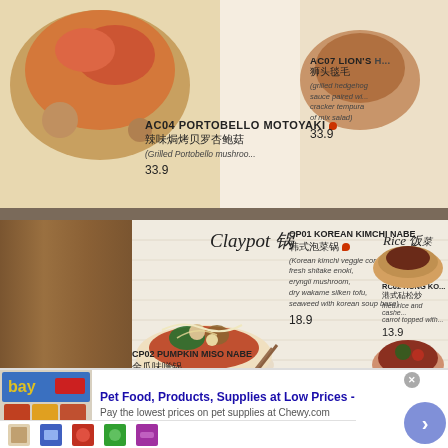[Figure (photo): Top portion of a restaurant menu page showing food photos and menu items AC04 Portobello Motoyaki and AC07 Lion's Head]
AC04 PORTOBELLO MOTOYAKI 辣味焗烤贝罗杏鲍菇
(Grilled Portobello mushroom...)
33.9
AC07 LION'S ... 狮头毯毛
(grilled hedgehog sauce paired with cracker tempura of mix salad)
33.9
[Figure (photo): Claypot section of restaurant menu with food photos, showing Korean Kimchi Nabe and Pumpkin Miso Nabe dishes]
Claypot 锅
CP01 KOREAN KIMCHI NABE 韩式泡菜锅
(Korean kimchi veggie coral, fresh shitake enoki, eryngii mushroom, dry wakame silken tofu, seaweed with korean soup base)
18.9
CP02 PUMPKIN MISO NABE 金瓜味噌锅
(broccoli, cauliflower, mix cabbage, eryngii mushroom enoki and cherry tomato with pumpkin miso soup base)
19.9
Rice 饭菜
RC02 HONG KO... 港式砧松炒
fried rice and cashew... carrot topped with...
13.9
RC09 KOREAN... 韩式泡菜
[Figure (photo): Advertisement banner: Pet Food, Products, Supplies at Low Prices - Chewy.com]
Pet Food, Products, Supplies at Low Prices -
Pay the lowest prices on pet supplies at Chewy.com
chewy.com